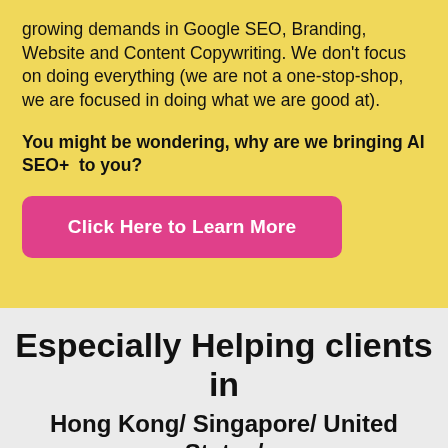growing demands in Google SEO, Branding, Website and Content Copywriting. We don't focus on doing everything (we are not a one-stop-shop, we are focused in doing what we are good at).
You might be wondering, why are we bringing AI SEO+  to you?
[Figure (other): Pink button with text 'Click Here to Learn More']
Especially Helping clients in
Hong Kong/ Singapore/ United States/